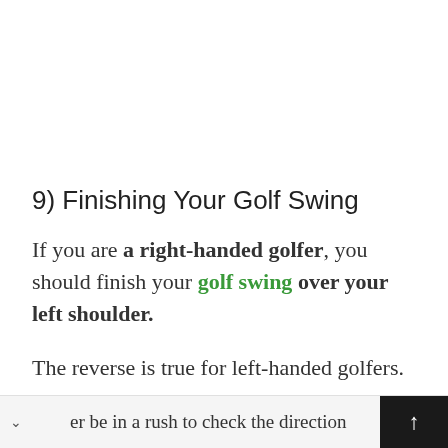9) Finishing Your Golf Swing
If you are a right-handed golfer, you should finish your golf swing over your left shoulder.
The reverse is true for left-handed golfers.
er be in a rush to check the direction